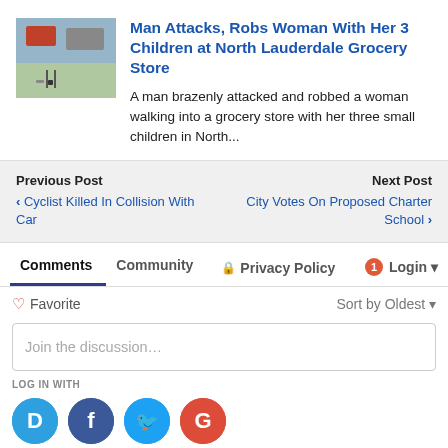[Figure (photo): Thumbnail photo of a parking lot scene]
Man Attacks, Robs Woman With Her 3 Children at North Lauderdale Grocery Store
A man brazenly attacked and robbed a woman walking into a grocery store with her three small children in North...
Previous Post
‹ Cyclist Killed In Collision With Car
Next Post
City Votes On Proposed Charter School ›
Comments
Community
🔒 Privacy Policy
1 Login
♡ Favorite
Sort by Oldest ▾
Join the discussion…
LOG IN WITH